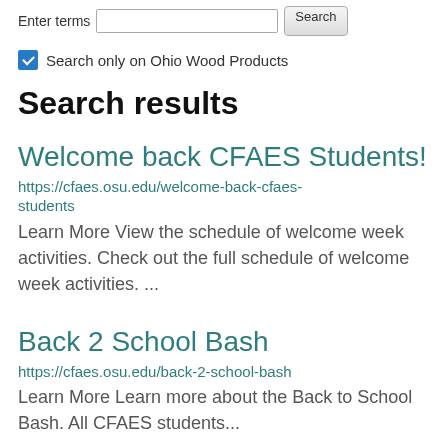Enter terms  [search input]  Search
Search only on Ohio Wood Products
Search results
Welcome back CFAES Students!
https://cfaes.osu.edu/welcome-back-cfaes-students
Learn More View the schedule of welcome week activities. Check out the full schedule of welcome week activities. ...
Back 2 School Bash
https://cfaes.osu.edu/back-2-school-bash
Learn More Learn more about the Back to School Bash. All CFAES students...